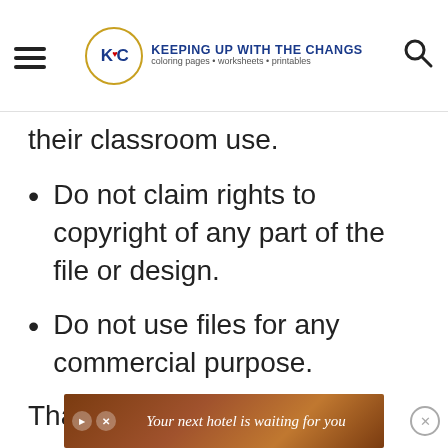KEEPING UP WITH THE CHANGS coloring pages • worksheets • printables
their classroom use.
Do not claim rights to copyright of any part of the file or design.
Do not use files for any commercial purpose.
Thank you for respecting our energy and investment in making these free printables available to everyone!